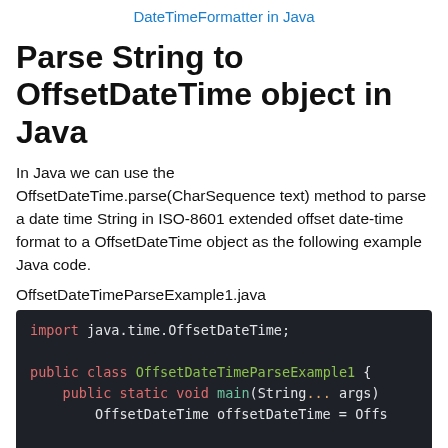DateTimeFormatter in Java
Parse String to OffsetDateTime object in Java
In Java we can use the OffsetDateTime.parse(CharSequence text) method to parse a date time String in ISO-8601 extended offset date-time format to a OffsetDateTime object as the following example Java code.
OffsetDateTimeParseExample1.java
[Figure (screenshot): Java code block on dark background showing: import java.time.OffsetDateTime; public class OffsetDateTimeParseExample1 { public static void main(String... args) { OffsetDateTime offsetDateTime = Offs... System.out.println(offsetDateTime); }]